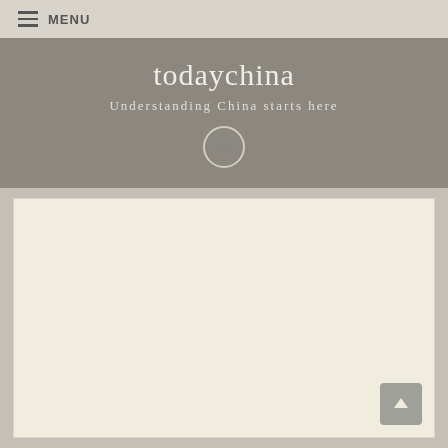≡ MENU
todaychina
Understanding China starts here
[Figure (screenshot): Search icon in a circle button in the site header]
[Figure (screenshot): Large cream/beige content card area with a back-to-top arrow button in the bottom right corner]